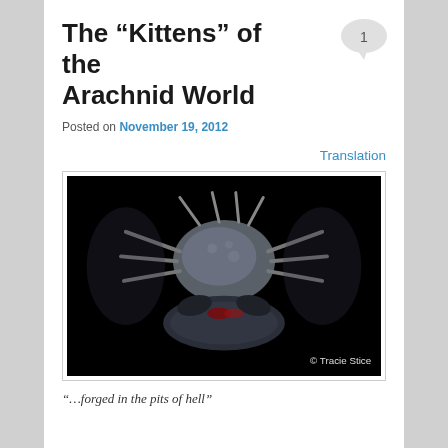The “Kittens” of the Arachnid World
Posted on November 19, 2012
Translation
[Figure (photo): Close-up macro photograph of an arachnid/scorpion viewed from the front, against a black background. Credit: © Tracie Stice]
“…forged in the pits of hell”